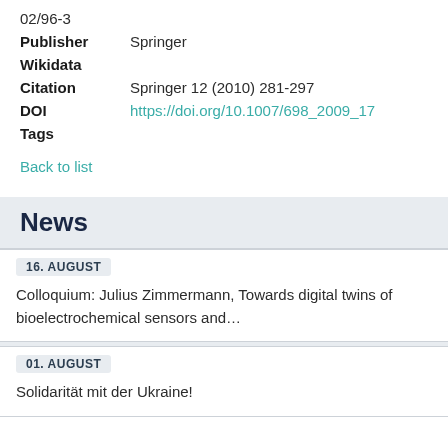02/96-3
Publisher   Springer
Wikidata
Citation   Springer 12 (2010) 281-297
DOI   https://doi.org/10.1007/698_2009_17
Tags
Back to list
News
16. AUGUST
Colloquium: Julius Zimmermann, Towards digital twins of bioelectrochemical sensors and…
01. AUGUST
Solidarität mit der Ukraine!